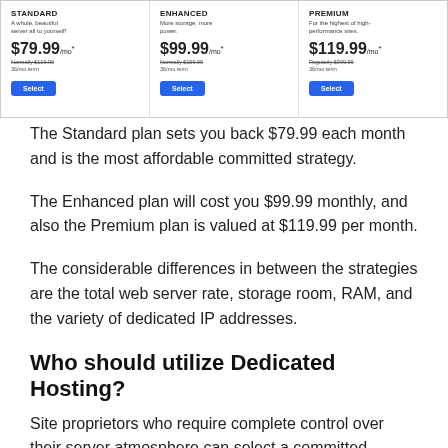[Figure (screenshot): Pricing table showing three dedicated hosting plans: Standard at $79.99/mo, Enhanced at $99.99/mo, and Premium at $119.99/mo, each with a blue Select button.]
The Standard plan sets you back $79.99 each month and is the most affordable committed strategy.
The Enhanced plan will cost you $99.99 monthly, and also the Premium plan is valued at $119.99 per month.
The considerable differences in between the strategies are the total web server rate, storage room, RAM, and the variety of dedicated IP addresses.
Who should utilize Dedicated Hosting?
Site proprietors who require complete control over their server atmosphere can select a committed server.